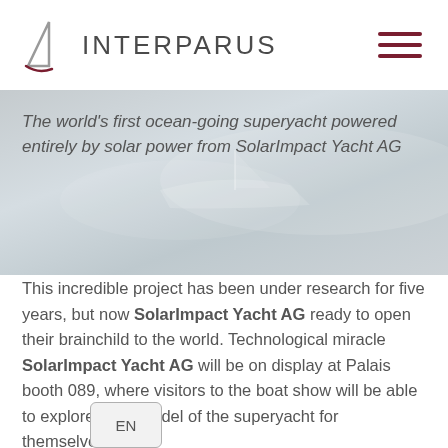[Figure (logo): Interparus logo with sailboat triangle icon and text INTERPARUS]
[Figure (illustration): Hamburger menu icon with three dark red horizontal lines]
[Figure (photo): Hero background image of ocean/water with yacht silhouette, light grey-blue tones]
The world's first ocean-going superyacht powered entirely by solar power from SolarImpact Yacht AG
This incredible project has been under research for five years, but now SolarImpact Yacht AG ready to open their brainchild to the world. Technological miracle SolarImpact Yacht AG will be on display at Palais booth 089, where visitors to the boat show will be able to explore a 3D model of the superyacht for themselves.
EN